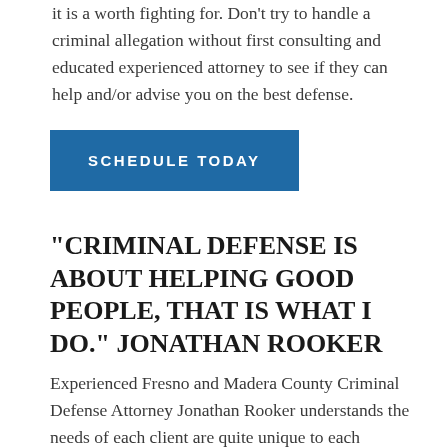it is a worth fighting for. Don't try to handle a criminal allegation without first consulting and educated experienced attorney to see if they can help and/or advise you on the best defense.
SCHEDULE TODAY
"CRIMINAL DEFENSE IS ABOUT HELPING GOOD PEOPLE, THAT IS WHAT I DO." JONATHAN ROOKER
Experienced Fresno and Madera County Criminal Defense Attorney Jonathan Rooker understands the needs of each client are quite unique to each individual client. Some clients are looking to keep their drivers license, others are looking to avoid long periods of incarceration. Many times pride and principles are vital for the clients motivation to achieving exceptional